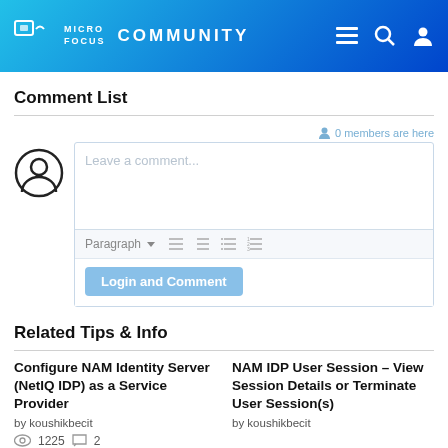MICRO FOCUS COMMUNITY
Comment List
0 members are here
Leave a comment...
Paragraph
Login and Comment
Related Tips & Info
Configure NAM Identity Server (NetIQ IDP) as a Service Provider
by koushikbecit
1225 views, 2 comments
NAM IDP User Session – View Session Details or Terminate User Session(s)
by koushikbecit